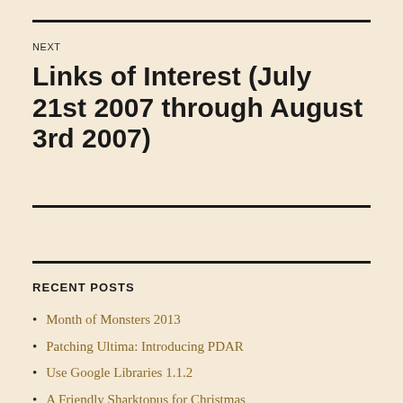NEXT
Links of Interest (July 21st 2007 through August 3rd 2007)
RECENT POSTS
Month of Monsters 2013
Patching Ultima: Introducing PDAR
Use Google Libraries 1.1.2
A Friendly Sharktopus for Christmas